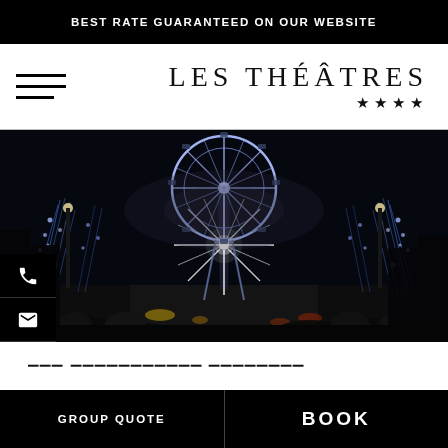BEST RATE GUARANTEED ON OUR WEBSITE
LES THÉÂTRES ★★★★
[Figure (photo): Nighttime view of Paris Champs-Élysées with a lit Ferris wheel (Grande Roue) and illuminated trees lining the boulevard, crowds in foreground]
GROUP QUOTE
BOOK